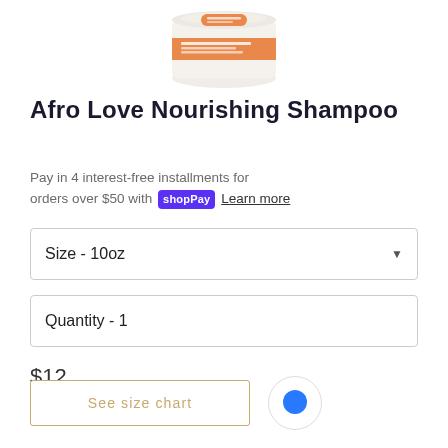[Figure (photo): Partial top view of a white cylindrical product jar with orange label - Afro Love Nourishing Shampoo]
Afro Love Nourishing Shampoo
Pay in 4 interest-free installments for orders over $50 with shop Pay Learn more
Size - 10oz
Quantity - 1
$12
Shipping calculated at checkout.
See size chart